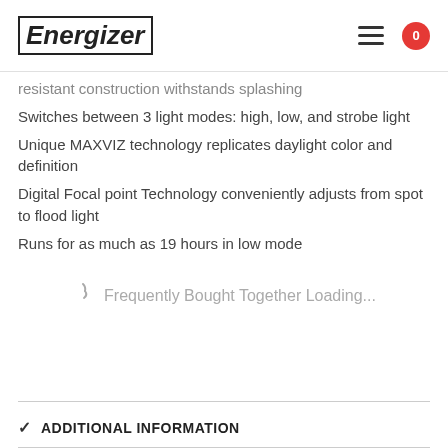Energizer
resistant construction withstands splashing
Switches between 3 light modes: high, low, and strobe light
Unique MAXVIZ technology replicates daylight color and definition
Digital Focal point Technology conveniently adjusts from spot to flood light
Runs for as much as 19 hours in low mode
Frequently Bought Together Loading...
ADDITIONAL INFORMATION